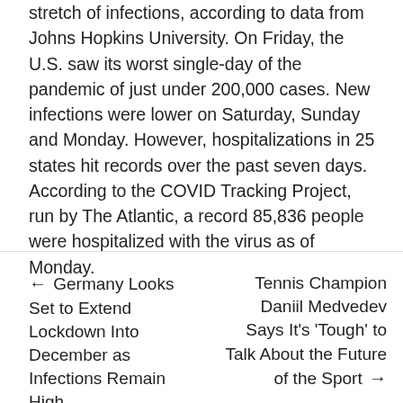stretch of infections, according to data from Johns Hopkins University. On Friday, the U.S. saw its worst single-day of the pandemic of just under 200,000 cases. New infections were lower on Saturday, Sunday and Monday. However, hospitalizations in 25 states hit records over the past seven days. According to the COVID Tracking Project, run by The Atlantic, a record 85,836 people were hospitalized with the virus as of Monday.
← Germany Looks Set to Extend Lockdown Into December as Infections Remain High
Tennis Champion Daniil Medvedev Says It's 'Tough' to Talk About the Future of the Sport →